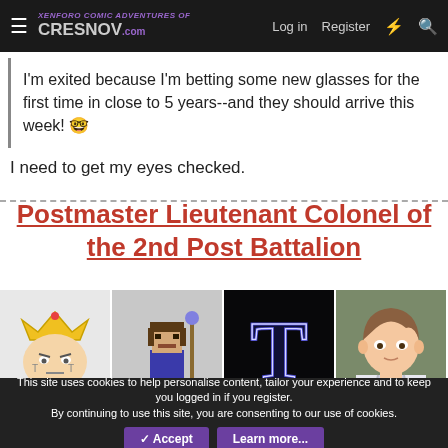CRESNOV.com — Log in | Register
I'm exited because I'm betting some new glasses for the first time in close to 5 years--and they should arrive this week! 🤓
I need to get my eyes checked.
Postmaster Lieutenant Colonel of the 2nd Post Battalion
[Figure (illustration): Four avatar images in a row: cartoon king with crown, pixel art wizard with staff, letter T on dark background, anime-style young man. Below them a partial fifth image with orange/fire tones.]
This site uses cookies to help personalise content, tailor your experience and to keep you logged in if you register.
By continuing to use this site, you are consenting to our use of cookies.